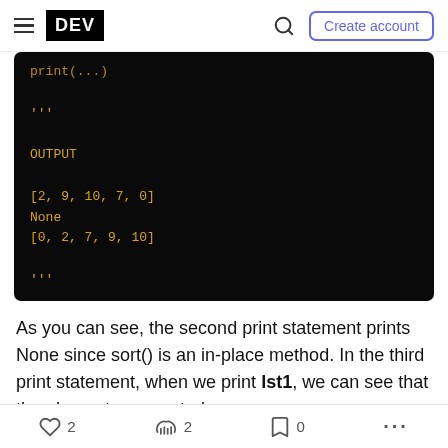DEV | Create account
[Figure (screenshot): Dark terminal/code block showing Python output: print(...) truncated at top, then triple quotes, OUTPUT label, then [2, 9, 10, 7, 0], None, [0, 2, 7, 9, 10], then triple quotes]
As you can see, the second print statement prints None since sort() is an in-place method. In the third print statement, when we print lst1, we can see that the elements are sorted.
2 likes  2 comments  0 bookmarks  more options